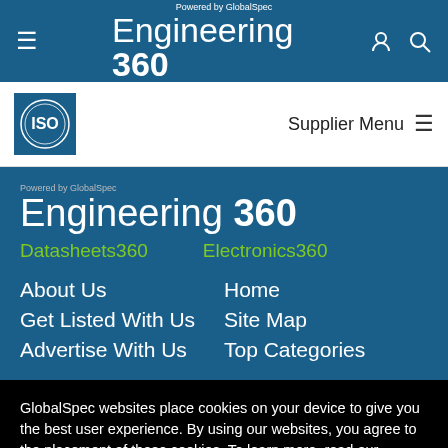Powered by GlobalSpec Engineering 360
[Figure (logo): ISO logo badge in blue square]
Supplier Menu
Powered by GlobalSpec Engineering 360
Datasheets360
Electronics360
About Us
Home
Get Listed With Us
Site Map
Advertise With Us
Top Categories
GlobalSpec websites place cookies on your device to give you the best user experience. By using our websites, you agree to the placement of these cookies. To learn more, read our Privacy Policy
Accept & Close